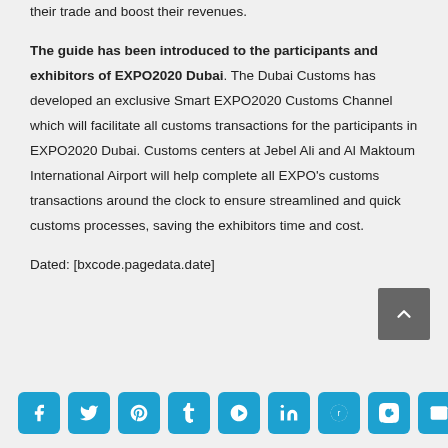their trade and boost their revenues.
The guide has been introduced to the participants and exhibitors of EXPO2020 Dubai. The Dubai Customs has developed an exclusive Smart EXPO2020 Customs Channel which will facilitate all customs transactions for the participants in EXPO2020 Dubai. Customs centers at Jebel Ali and Al Maktoum International Airport will help complete all EXPO's customs transactions around the clock to ensure streamlined and quick customs processes, saving the exhibitors time and cost.
Dated: [bxcode.pagedata.date]